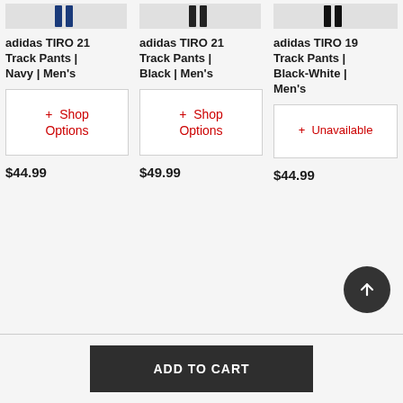[Figure (screenshot): Product image partial view of adidas TIRO 21 Track Pants Navy]
adidas TIRO 21 Track Pants | Navy | Men's
+ Shop Options
$44.99
[Figure (screenshot): Product image partial view of adidas TIRO 21 Track Pants Black]
adidas TIRO 21 Track Pants | Black | Men's
+ Shop Options
$49.99
[Figure (screenshot): Product image partial view of adidas TIRO 19 Track Pants Black-White]
adidas TIRO 19 Track Pants | Black-White | Men's
+ Unavailable
$44.99
ADD TO CART